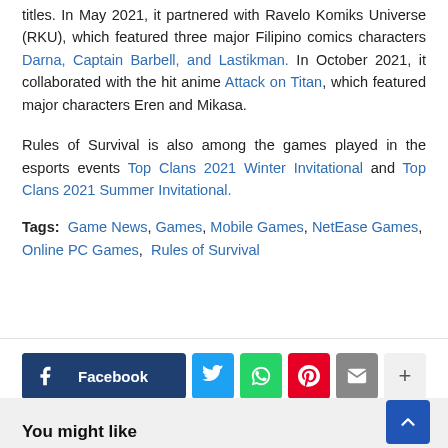titles. In May 2021, it partnered with Ravelo Komiks Universe (RKU), which featured three major Filipino comics characters Darna, Captain Barbell, and Lastikman. In October 2021, it collaborated with the hit anime Attack on Titan, which featured major characters Eren and Mikasa.
Rules of Survival is also among the games played in the esports events Top Clans 2021 Winter Invitational and Top Clans 2021 Summer Invitational.
Tags: Game News, Games, Mobile Games, NetEase Games, Online PC Games, Rules of Survival
[Figure (infographic): Social sharing buttons: Facebook, Twitter, WhatsApp, Pinterest, Email, and a plus/more button]
You might like